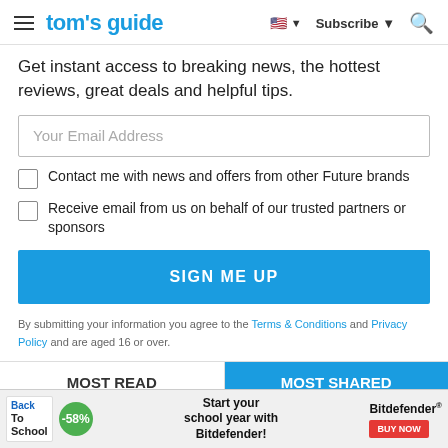tom's guide | Subscribe
Get instant access to breaking news, the hottest reviews, great deals and helpful tips.
Your Email Address
Contact me with news and offers from other Future brands
Receive email from us on behalf of our trusted partners or sponsors
SIGN ME UP
By submitting your information you agree to the Terms & Conditions and Privacy Policy and are aged 16 or over.
MOST READ
MOST SHARED
[Figure (infographic): Advertisement banner: Back to School, -58%, Start your school year with Bitdefender! Bitdefender BUY NOW]